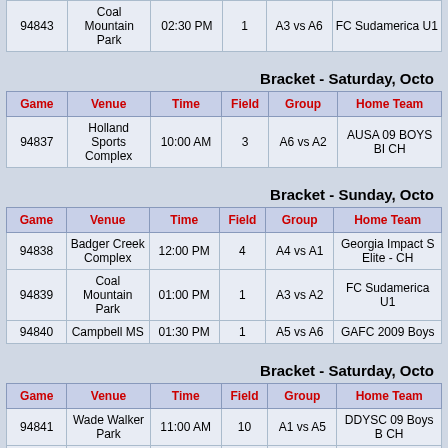| Game | Venue | Time | Field | Group | Home Team |
| --- | --- | --- | --- | --- | --- |
| 94843 | Coal Mountain Park | 02:30 PM | 1 | A3 vs A6 | FC Sudamerica U1 |
Bracket - Saturday, Octo
| Game | Venue | Time | Field | Group | Home Team |
| --- | --- | --- | --- | --- | --- |
| 94837 | Holland Sports Complex | 10:00 AM | 3 | A6 vs A2 | AUSA 09 BOYS BI CH |
Bracket - Sunday, Octo
| Game | Venue | Time | Field | Group | Home Team |
| --- | --- | --- | --- | --- | --- |
| 94838 | Badger Creek Complex | 12:00 PM | 4 | A4 vs A1 | Georgia Impact S Elite - CH |
| 94839 | Coal Mountain Park | 01:00 PM | 1 | A3 vs A2 | FC Sudamerica U1 |
| 94840 | Campbell MS | 01:30 PM | 1 | A5 vs A6 | GAFC 2009 Boys |
Bracket - Saturday, Octo
| Game | Venue | Time | Field | Group | Home Team |
| --- | --- | --- | --- | --- | --- |
| 94841 | Wade Walker Park | 11:00 AM | 10 | A1 vs A5 | DDYSC 09 Boys B CH |
| 94842 | Tramore - CASL | 12:00 PM | 1 | A2 vs A4 | MAYS Striker - B1 Premier - CH |
| 94835 | Coal Mountain Park | 03:00 PM | 1 | A1 vs A3 | DDYSC 09 Boys B CH |